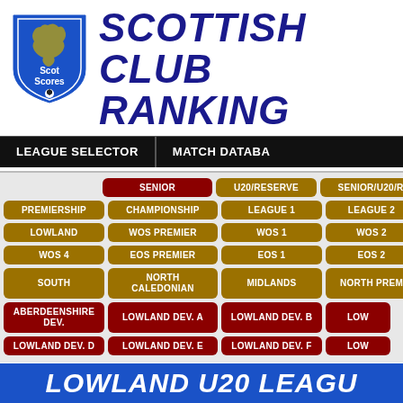[Figure (logo): ScotScores shield logo with blue background, Scotland map, and football]
SCOTTISH CLUB RANKING
LEAGUE SELECTOR | MATCH DATABASE
SENIOR | U20/RESERVE | SENIOR/U20/R
PREMIERSHIP | CHAMPIONSHIP | LEAGUE 1 | LEAGUE 2
LOWLAND | WOS PREMIER | WOS 1 | WOS 2
WOS 4 | EOS PREMIER | EOS 1 | EOS 2
SOUTH | NORTH CALEDONIAN | MIDLANDS | NORTH PREM
ABERDEENSHIRE DEV. | LOWLAND DEV. A | LOWLAND DEV. B | LOW
LOWLAND DEV. D | LOWLAND DEV. E | LOWLAND DEV. F | LOW
LOWLAND U20 LEAGUE